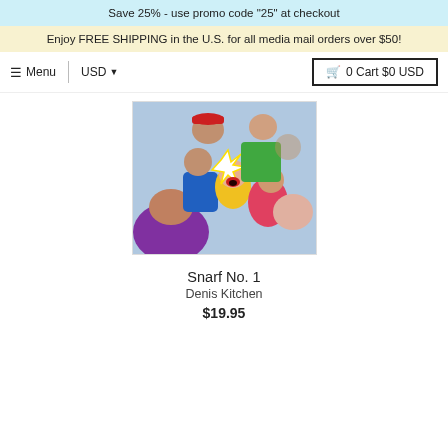Save 25% - use promo code "25" at checkout
Enjoy FREE SHIPPING in the U.S. for all media mail orders over $50!
☰ Menu   USD ▼   🛒 0 Cart $0 USD
[Figure (photo): Comic book style artwork showing a chaotic crowd scene with cartoon characters in bright colors including yellow, blue, purple, red and green.]
Snarf No. 1
Denis Kitchen
$19.95